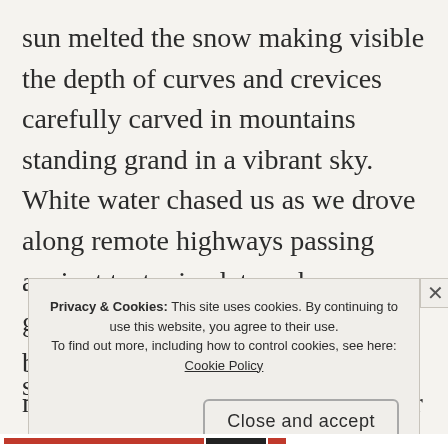sun melted the snow making visible the depth of curves and crevices carefully carved in mountains standing grand in a vibrant sky. White water chased us as we drove along remote highways passing ancient tectonic plates whose geothermal features sang out in boiling gurgles, as individual microorganisms revealed to us their own majestic color within the lava rock. Hikes up mountains and down valleys taught us that the gentle crescendo of s
Privacy & Cookies: This site uses cookies. By continuing to use this website, you agree to their use.
To find out more, including how to control cookies, see here:
Cookie Policy

Close and accept